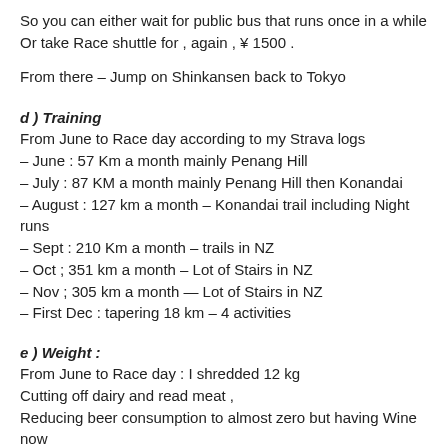So you can either wait for public bus that runs once in a while Or take Race shuttle for , again , ¥ 1500 .
From there – Jump on Shinkansen back to Tokyo
d ) Training
From June to Race day according to my Strava logs
– June : 57 Km a month mainly Penang Hill
– July : 87 KM a month mainly Penang Hill then Konandai
– August : 127 km a month – Konandai trail including Night runs
– Sept : 210 Km a month – trails in NZ
– Oct ; 351 km a month – Lot of Stairs in NZ
– Nov ; 305 km a month — Lot of Stairs in NZ
– First Dec : tapering 18 km – 4 activities
e ) Weight :
From June to Race day : I shredded 12 kg
Cutting off dairy and read meat ,
Reducing beer consumption to almost zero but having Wine now and then
Zero Alcohol for a week prior Race .
f ) Costs
Entry fee : 18,500 ¥